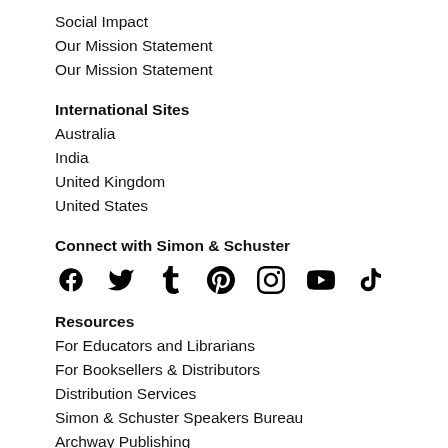Social Impact
Our Mission Statement
Our Mission Statement
International Sites
Australia
India
United Kingdom
United States
Connect with Simon & Schuster
[Figure (infographic): Social media icons: Facebook, Twitter, Tumblr, Pinterest, Instagram, YouTube, TikTok]
Resources
For Educators and Librarians
For Booksellers & Distributors
Distribution Services
Simon & Schuster Speakers Bureau
Archway Publishing